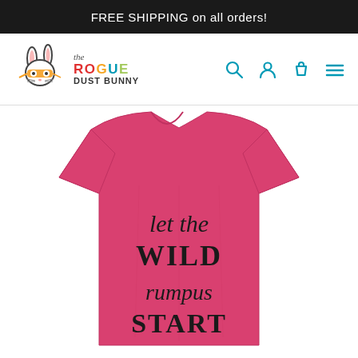FREE SHIPPING on all orders!
[Figure (logo): The Rogue Dust Bunny logo with illustrated rabbit wearing orange mask, alongside colorful brand name text]
[Figure (photo): Heather raspberry/pink t-shirt with handwritten text 'let the WILD rumpus START' printed on the front]